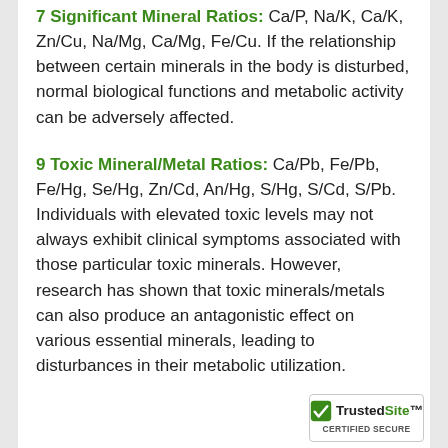7 Significant Mineral Ratios: Ca/P, Na/K, Ca/K, Zn/Cu, Na/Mg, Ca/Mg, Fe/Cu. If the relationship between certain minerals in the body is disturbed, normal biological functions and metabolic activity can be adversely affected.
9 Toxic Mineral/Metal Ratios: Ca/Pb, Fe/Pb, Fe/Hg, Se/Hg, Zn/Cd, An/Hg, S/Hg, S/Cd, S/Pb. Individuals with elevated toxic levels may not always exhibit clinical symptoms associated with those particular toxic minerals. However, research has shown that toxic minerals/metals can also produce an antagonistic effect on various essential minerals, leading to disturbances in their metabolic utilization.